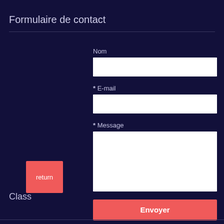Formulaire de contact
Nom
* E-mail
* Message
Envoyer
return
Class